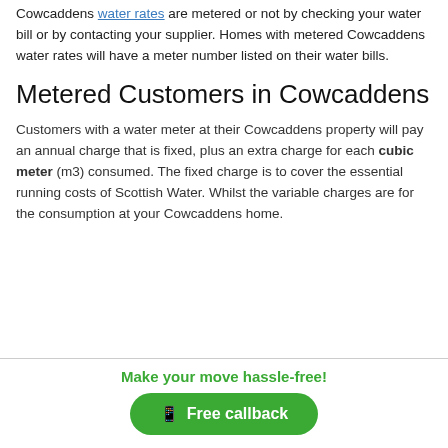Cowcaddens water rates are metered or not by checking your water bill or by contacting your supplier. Homes with metered Cowcaddens water rates will have a meter number listed on their water bills.
Metered Customers in Cowcaddens
Customers with a water meter at their Cowcaddens property will pay an annual charge that is fixed, plus an extra charge for each cubic meter (m3) consumed. The fixed charge is to cover the essential running costs of Scottish Water. Whilst the variable charges are for the consumption at your Cowcaddens home.
Make your move hassle-free!
Free callback